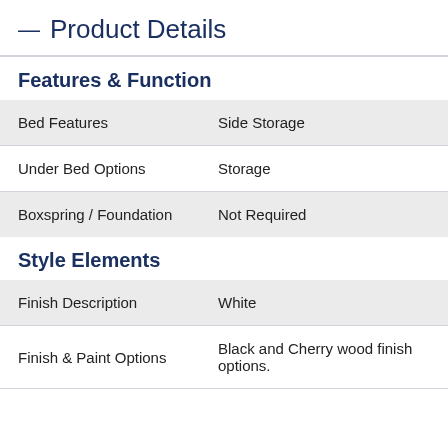— Product Details
Features & Function
|  |  |
| --- | --- |
| Bed Features | Side Storage |
| Under Bed Options | Storage |
| Boxspring / Foundation | Not Required |
Style Elements
|  |  |
| --- | --- |
| Finish Description | White |
| Finish & Paint Options | Black and Cherry wood finish options. |